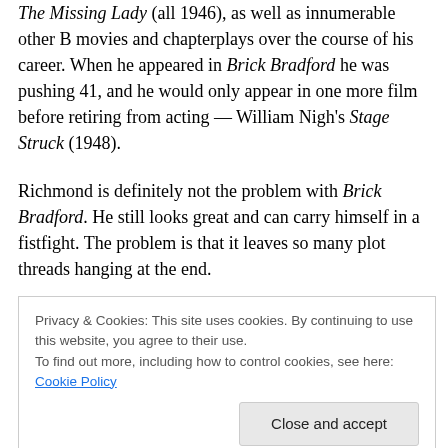The Missing Lady (all 1946), as well as innumerable other B movies and chapterplays over the course of his career. When he appeared in Brick Bradford he was pushing 41, and he would only appear in one more film before retiring from acting — William Nigh's Stage Struck (1948).
Richmond is definitely not the problem with Brick Bradford. He still looks great and can carry himself in a fistfight. The problem is that it leaves so many plot threads hanging at the end.
Chrome-domed, bespectacled scientist Dr. Gregor Tymak
Privacy & Cookies: This site uses cookies. By continuing to use this website, you agree to their use.
To find out more, including how to control cookies, see here: Cookie Policy
Close and accept
hands.